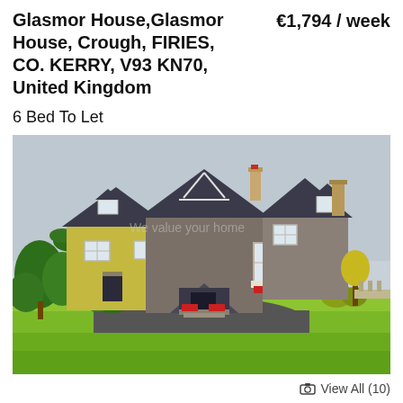Glasmor House,Glasmor House, Crough, FIRIES, CO. KERRY, V93 KN70, United Kingdom  €1,794 / week
6 Bed To Let
[Figure (photo): Exterior photo of Glasmor House, a large stone and yellow-rendered country house with multiple gables, dark roof, bay window, steps to front door, surrounded by well-maintained lawns and gardens under an overcast sky.]
View All (10)